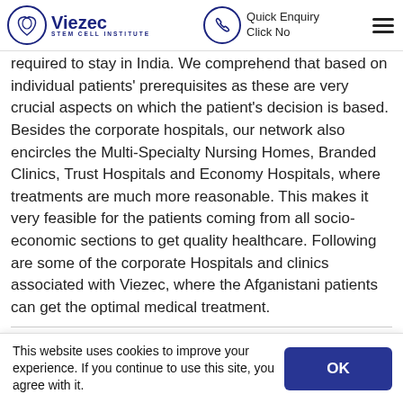Viezec Stem Cell Institute | Quick Enquiry Click No
required to stay in India. We comprehend that based on individual patients' prerequisites as these are very crucial aspects on which the patient's decision is based. Besides the corporate hospitals, our network also encircles the Multi-Specialty Nursing Homes, Branded Clinics, Trust Hospitals and Economy Hospitals, where treatments are much more reasonable. This makes it very feasible for the patients coming from all socio-economic sections to get quality healthcare. Following are some of the corporate Hospitals and clinics associated with Viezec, where the Afganistani patients can get the optimal medical treatment.
Medical treatments and
This website uses cookies to improve your experience. If you continue to use this site, you agree with it.